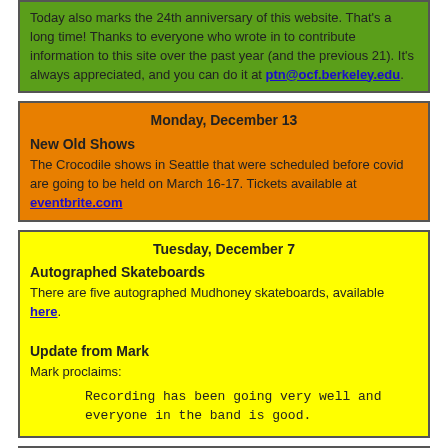Today also marks the 24th anniversary of this website. That's a long time! Thanks to everyone who wrote in to contribute information to this site over the past year (and the previous 21). It's always appreciated, and you can do it at ptn@ocf.berkeley.edu.
Monday, December 13
New Old Shows
The Crocodile shows in Seattle that were scheduled before covid are going to be held on March 16-17. Tickets available at eventbrite.com
Tuesday, December 7
Autographed Skateboards
There are five autographed Mudhoney skateboards, available here.

Update from Mark
Mark proclaims:

Recording has been going very well and everyone in the band is good.
Tuesday, November 16
New Album Rumblings
Mudhoney is in the middle of nine days of recording for a new album, with producer Johnny Sangster at Crackle & Pop! studio in Seattle.